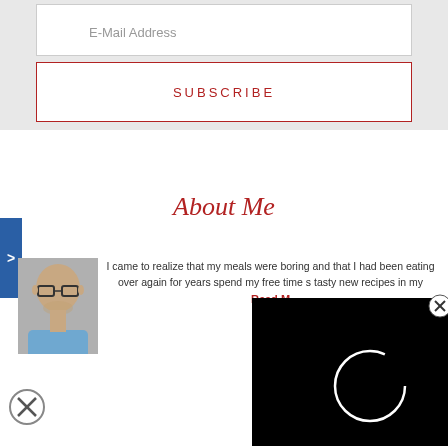E-Mail Address
SUBSCRIBE
About Me
I came to realize that my meals were boring and that I had been eating over again for years spend my free time s tasty new recipes in my
Read M
[Figure (photo): Black video player overlay with white loading circle spinner, and a close X button in top right corner]
[Figure (photo): Close/dismiss circular X button at bottom left]
[Figure (photo): Photo of a man with glasses and light blue shirt]